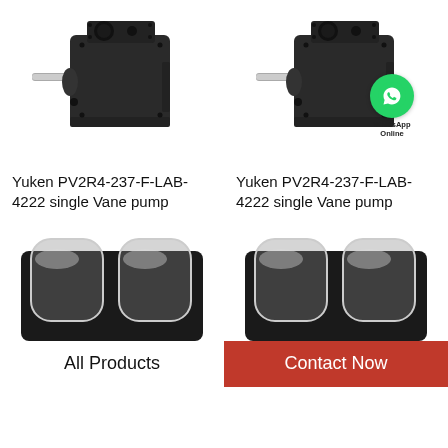[Figure (photo): Yuken PV2R4-237-F-LAB-4222 single Vane pump - black hydraulic pump with shaft, top-left product image]
[Figure (photo): Yuken PV2R4-237-F-LAB-4222 single Vane pump - black hydraulic pump with shaft, top-right product image, with WhatsApp Online badge overlay]
Yuken PV2R4-237-F-LAB-4222 single Vane pump
Yuken PV2R4-237-F-LAB-4222 single Vane pump
[Figure (photo): Bottom-left partial product photo showing dark component with two rounded transparent covers]
[Figure (photo): Bottom-right partial product photo showing dark component with two rounded transparent covers]
All Products
Contact Now